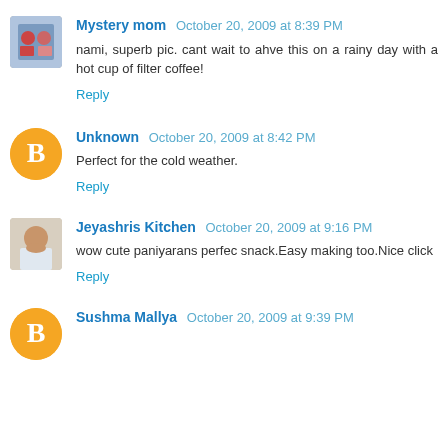[Figure (photo): Avatar photo of Mystery mom - small square photo showing two people]
Mystery mom  October 20, 2009 at 8:39 PM
nami, superb pic. cant wait to ahve this on a rainy day with a hot cup of filter coffee!
Reply
[Figure (illustration): Orange circle Blogger default avatar icon for Unknown]
Unknown  October 20, 2009 at 8:42 PM
Perfect for the cold weather.
Reply
[Figure (photo): Avatar photo of Jeyashris Kitchen - woman in white top]
Jeyashris Kitchen  October 20, 2009 at 9:16 PM
wow cute paniyarans perfec snack.Easy making too.Nice click
Reply
[Figure (illustration): Orange circle Blogger default avatar icon for Sushma Mallya]
Sushma Mallya  October 20, 2009 at 9:39 PM